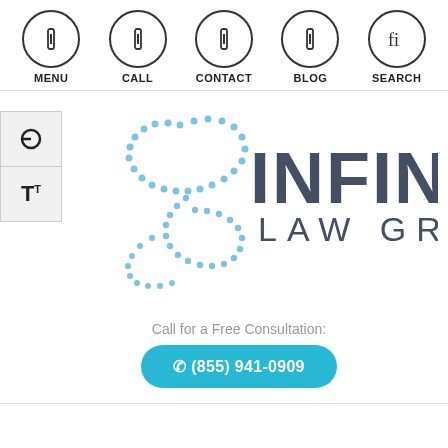MENU  CALL  CONTACT  BLOG  SEARCH
[Figure (logo): Infinity Law Group logo with infinity symbol made of blue dots and dark gray text reading INFINITY LAW GROUP]
Call for a Free Consultation:
✆ (855) 941-0909